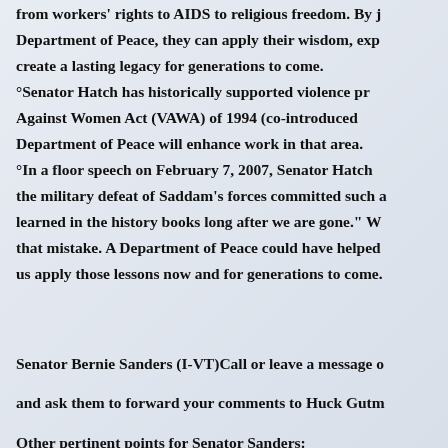from workers' rights to AIDS to religious freedom. By joining the Department of Peace, they can apply their wisdom, experience, and create a lasting legacy for generations to come.
°Senator Hatch has historically supported violence prevention — Violence Against Women Act (VAWA) of 1994 (co-introduced) — and the Department of Peace will enhance work in that area.
°In a floor speech on February 7, 2007, Senator Hatch stated that the military defeat of Saddam's forces committed such acts to be learned in the history books long after we are gone." We must not repeat that mistake. A Department of Peace could have helped us apply those lessons now and for generations to come.
Senator Bernie Sanders (I-VT)Call or leave a message on his voice mail and ask them to forward your comments to Huck Gutman.
Other pertinent points for Senator Sanders:
°Huck met in February 2007 with the Vermont grassroots